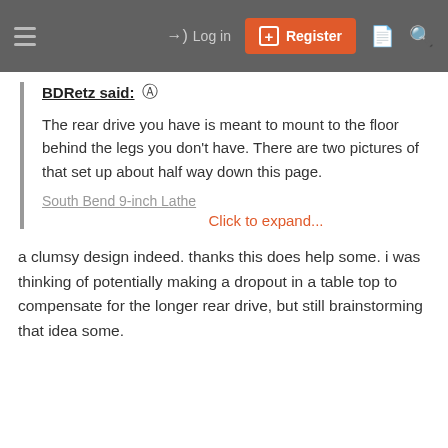Log in | Register
BDRetz said: ↑ The rear drive you have is meant to mount to the floor behind the legs you don't have. There are two pictures of that set up about half way down this page. South Bend 9-inch Lathe Click to expand...
a clumsy design indeed. thanks this does help some. i was thinking of potentially making a dropout in a table top to compensate for the longer rear drive, but still brainstorming that idea some.